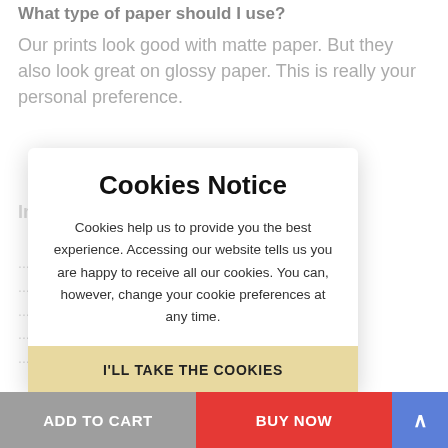What type of paper should I use?
Our prints look good with matte paper. But they also look great on glossy paper. This is really your personal preference.
Important Notes
...e an ...ownload. ...erent. ...ut please ...s with your
Cookies Notice
Cookies help us to provide you the best experience. Accessing our website tells us you are happy to receive all our cookies. You can, however, change your cookie preferences at any time.
I'LL TAKE THE COOKIES
ADD TO CART | BUY NOW